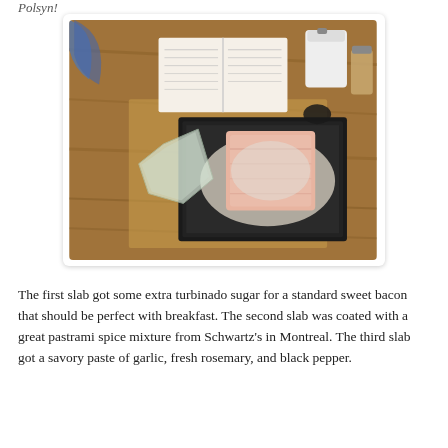Polsyn!
[Figure (photo): A wooden table with a black baking tray holding a large pink slab of meat (pork belly) coated in a white salt/sugar curing mixture. An empty plastic bag sits to the left of the tray. In the background is an open cookbook, a white ceramic canister, and a small spice jar.]
The first slab got some extra turbinado sugar for a standard sweet bacon that should be perfect with breakfast. The second slab was coated with a great pastrami spice mixture from Schwartz's in Montreal. The third slab got a savory paste of garlic, fresh rosemary, and black pepper.